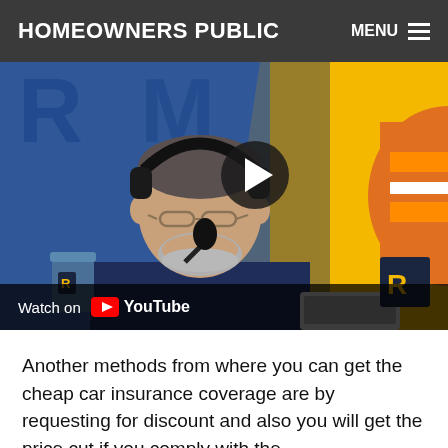HOMEOWNERS PUBLIC
[Figure (screenshot): Video thumbnail showing a man wearing headphones and a microphone at a radio/podcast desk, with a colorful blue, yellow and orange background (RAM brand). A YouTube play button overlay is visible, and at the bottom a 'Watch on YouTube' bar is shown.]
Another methods from where you can get the cheap car insurance coverage are by requesting for discount and also you will get the price cut if you comply with the